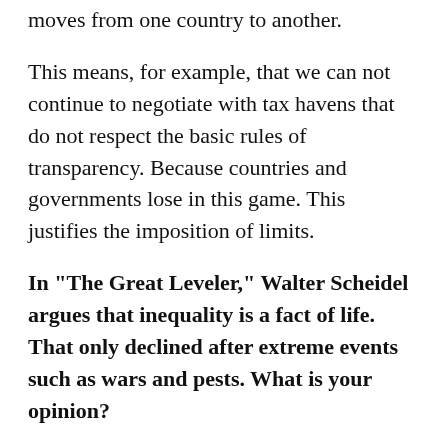moves from one country to another.
This means, for example, that we can not continue to negotiate with tax havens that do not respect the basic rules of transparency. Because countries and governments lose in this game. This justifies the imposition of limits.
In "The Great Leveler," Walter Scheidel argues that inequality is a fact of life. That only declined after extreme events such as wars and pests. What is your opinion?
Yes, it is a fact of life and, to a certain extent, it will always exist, until the end of time.
But the question is to what extent will we accept this level of inequality. There is another fact, not a fact of